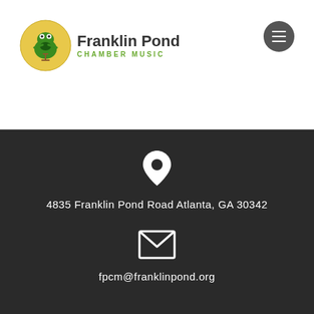[Figure (logo): Franklin Pond Chamber Music logo with frog illustration in a circular yellow badge and organization name text]
[Figure (other): Hamburger menu button, dark gray circle with three white horizontal lines]
4835 Franklin Pond Road Atlanta, GA 30342
fpcm@franklinpond.org